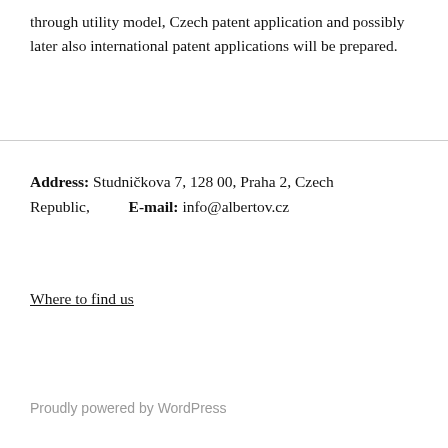through utility model, Czech patent application and possibly later also international patent applications will be prepared.
Address: Studničkova 7, 128 00, Praha 2, Czech Republic,   E-mail: info@albertov.cz
Where to find us
Proudly powered by WordPress